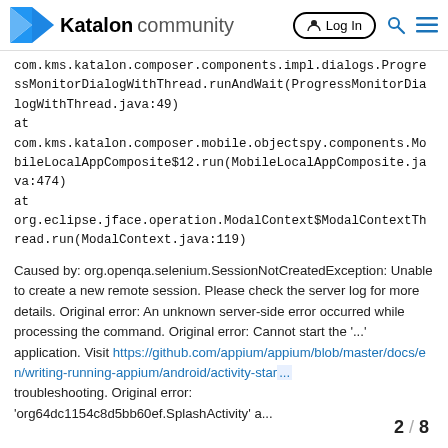Katalon community  Log In
com.kms.katalon.composer.components.impl.dialogs.ProgressMonitorDialogWithThread.runAndWait(ProgressMonitorDialogWithThread.java:49)
at
com.kms.katalon.composer.mobile.objectspy.components.MobileLocalAppComposite$12.run(MobileLocalAppComposite.java:474)
at
org.eclipse.jface.operation.ModalContext$ModalContextThread.run(ModalContext.java:119)
Caused by: org.openqa.selenium.SessionNotCreatedException: Unable to create a new remote session. Please check the server log for more details. Original error: An unknown server-side error occurred while processing the command. Original error: Cannot start the '...' application. Visit https://github.com/appium/appium/blob/master/docs/en/writing-running-appium/android/activity-start... troubleshooting. Original error:
'org64dc1154c8d5bb60ef.SplashActivity' a...
2 / 8